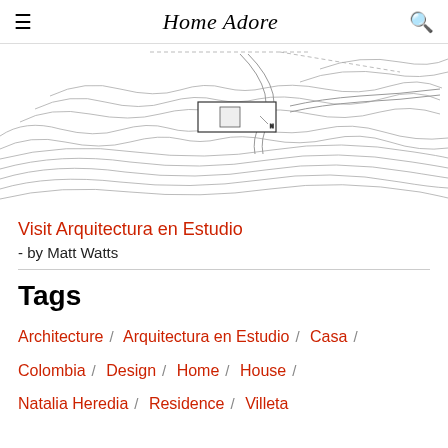Home Adore
[Figure (engineering-diagram): Architectural site plan drawing showing topographic contour lines with a rectangular building footprint positioned in the upper-center area, rendered in black and white line art.]
Visit Arquitectura en Estudio
- by Matt Watts
Tags
Architecture / Arquitectura en Estudio / Casa / Colombia / Design / Home / House / Natalia Heredia / Residence / Villeta